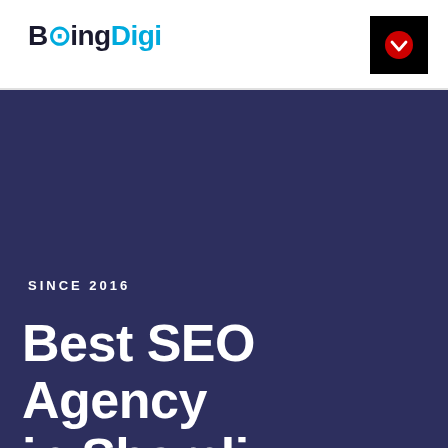[Figure (logo): BeingDigi logo — 'Being' in dark navy bold and 'Digi' in cyan/blue bold]
[Figure (other): Black square button with red circle and white downward chevron icon, used as a mobile menu toggle]
SINCE 2016
Best SEO Agency in Shamli
Want to grow your business online? SEO is the most